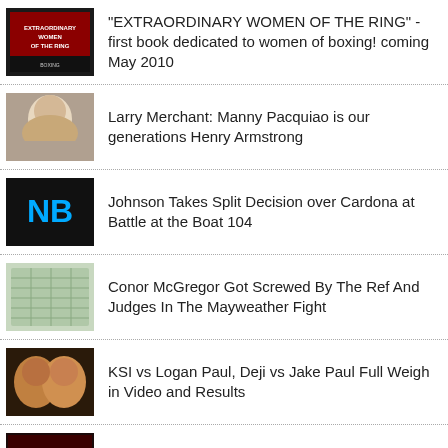"EXTRAORDINARY WOMEN OF THE RING" - first book dedicated to women of boxing! coming May 2010
Larry Merchant: Manny Pacquiao is our generations Henry Armstrong
Johnson Takes Split Decision over Cardona at Battle at the Boat 104
Conor McGregor Got Screwed By The Ref And Judges In The Mayweather Fight
KSI vs Logan Paul, Deji vs Jake Paul Full Weigh in Video and Results
Celebrity Boxing Danny Bonaduce vs Jose Canseco